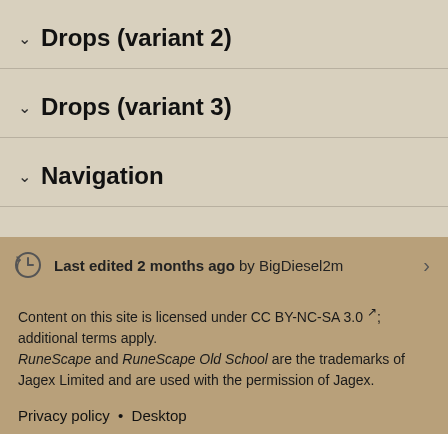∨ Drops (variant 2)
∨ Drops (variant 3)
∨ Navigation
Last edited 2 months ago by BigDiesel2m
Content on this site is licensed under CC BY-NC-SA 3.0; additional terms apply. RuneScape and RuneScape Old School are the trademarks of Jagex Limited and are used with the permission of Jagex.
Privacy policy • Desktop